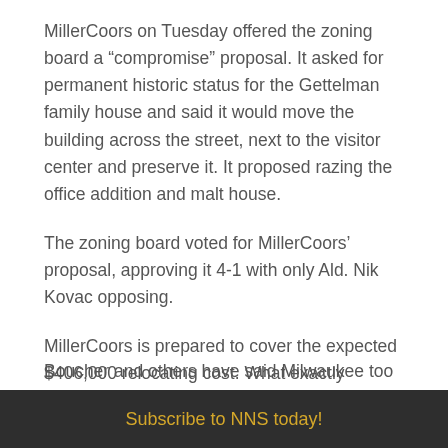MillerCoors on Tuesday offered the zoning board a “compromise” proposal. It asked for permanent historic status for the Gettelman family house and said it would move the building across the street, next to the visitor center and preserve it. It proposed razing the office addition and malt house.
The zoning board voted for MillerCoors’ proposal, approving it 4-1 with only Ald. Nik Kovac opposing.
MillerCoors is prepared to cover the expected $406,000 relocating cost. What exactly MillerCoors would use the house for was not clear Tuesday. Company representatives said there would be some kind of display honoring the Gettelman Brewery’s achievements.
Subscribe to NNS today!
Boucher and others have said Milwaukee too often